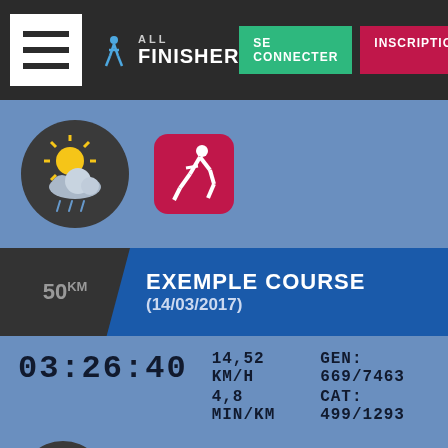ALL FINISHER — SE CONNECTER | INSCRIPTION
[Figure (screenshot): Weather icon with sun and rain cloud in dark circle, and running figure pink icon]
EXEMPLE COURSE (14/03/2017)
03:26:40  14,52 KM/H  4,8 MIN/KM  GEN: 669/7463  CAT: 499/1293
[Figure (screenshot): Snow/rain cloud weather icon in dark circle, and running figure pink icon]
[Figure (screenshot): Teal up-arrow scroll button]